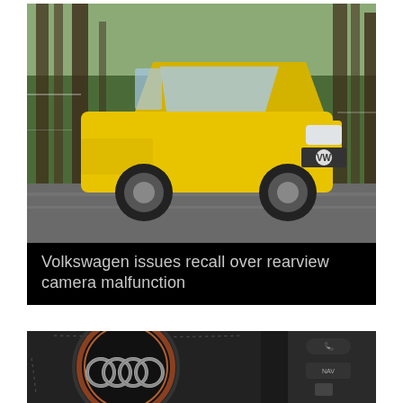[Figure (photo): Yellow Volkswagen Atlas SUV driving on a road through a pine forest, front three-quarter view, motion blur on background.]
Volkswagen issues recall over rearview camera malfunction
[Figure (photo): Close-up of an Audi steering wheel hub showing the four-ring Audi logo in chrome on a black leather-wrapped steering wheel, with control buttons visible on the right side.]